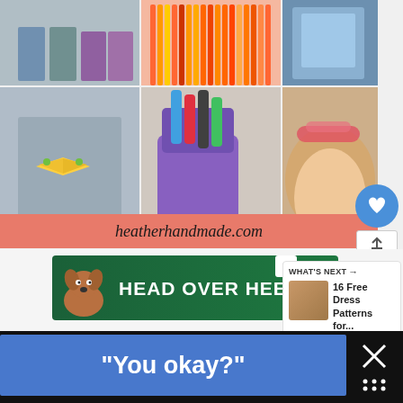[Figure (photo): Six-panel collage of craft/sewing projects: kids in shorts, colored pencils on pink background, fabric/sewing supplies, boy with floral bowtie, hand holding markers/pencil case, girl with decorative headband. Salmon/coral banner at bottom reads heatherhandmade.com in italic script.]
[Figure (screenshot): UI overlay: blue circular heart button with count 26, save arrow button, share button with plus icon.]
[Figure (photo): Advertisement banner: dark green background with dog illustration, bold white text HEAD OVER HEELS, with X close button.]
WHAT'S NEXT →
16 Free Dress Patterns for...
[Figure (screenshot): Blue advertisement banner with text: "You okay?"]
[Figure (screenshot): X close button with grid/dots icon on dark background, bottom right corner.]